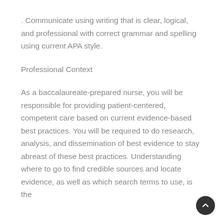. Communicate using writing that is clear, logical, and professional with correct grammar and spelling using current APA style.
Professional Context
As a baccalaureate-prepared nurse, you will be responsible for providing patient-centered, competent care based on current evidence-based best practices. You will be required to do research, analysis, and dissemination of best evidence to stay abreast of these best practices. Understanding where to go to find credible sources and locate evidence, as well as which search terms to use, is the